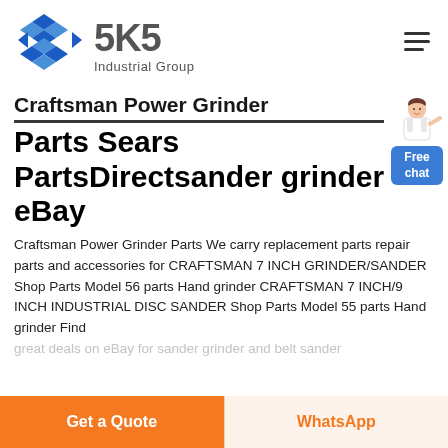[Figure (logo): SKS Industrial Group logo with blue angular S icon and gray SKS text with 'Industrial Group' subtitle]
Craftsman Power Grinder Parts Sears PartsDirectsander grinder eBay
Craftsman Power Grinder Parts We carry replacement parts repair parts and accessories for CRAFTSMAN 7 INCH GRINDER/SANDER Shop Parts Model 56 parts Hand grinder CRAFTSMAN 7 INCH/9 INCH INDUSTRIAL DISC SANDER Shop Parts Model 55 parts Hand grinder Find great deals on eBay for sander grinder and belt sander
Get a Quote | WhatsApp